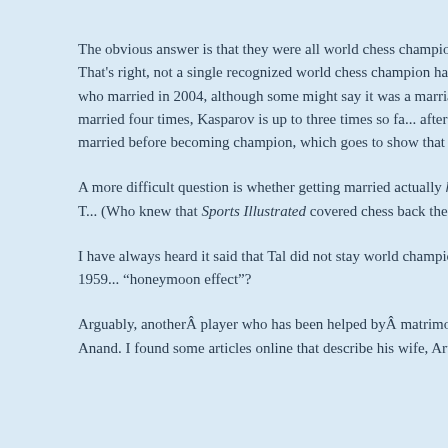The obvious answer is that they were all world chess champions. The not-so-obvious answer is that they were all married at some point in their lives! That's right, not a single recognized world chess champion has been a lifelong bachelor. Obviously the one who came closest was Bobby Fischer, who married in 2004, although some might say it was a marriage of convenience. A few world champions married more than once; Alekhine was married four times, Kasparov is up to three times so far. Several married after becoming world champion: Lasker, Capablanca, Fischer, Karpov, Kasparov, and Anand. The others all married before becoming champion, which goes to show that you don't have to be single to be at the top of the chess world.
A more difficult question is whether getting married actually helped any of them. There is a fascinating, in-depth article in the Sports Illustrated archives, about the Tal-Botvinnik match of 1960. (Who knew that Sports Illustrated covered chess back then? They certainly don't now.) Tal and his wife, according to the article, were still as giddy as newlyweds.
I have always heard it said that Tal did not stay world champion for long because of his health issues. I wonder if perhaps he was inspired to play his most creative chess in 1959-1960 because of the "honeymoon effect"?
Arguably, another player who has been helped by matrimony is our current world champion, Viswanathan Anand. I found some articles online that describe his wife, Aruna, as being...